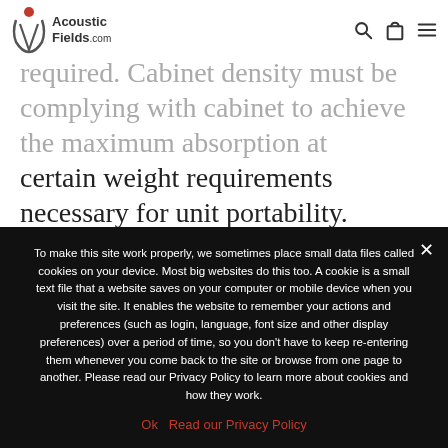Acoustic Fields.com — navigation header with search, cart, and menu icons
required. Cabinet density must be complying with cabinet to achieve the maximum absorption at certain weight requirements necessary for unit portability. Internal cabinet fill must not be foam or building insulation. Activated carbon is the only cabinet material that we use that is the S…
To make this site work properly, we sometimes place small data files called cookies on your device. Most big websites do this too. A cookie is a small text file that a website saves on your computer or mobile device when you visit the site. It enables the website to remember your actions and preferences (such as login, language, font size and other display preferences) over a period of time, so you don't have to keep re-entering them whenever you come back to the site or browse from one page to another. Please read our Privacy Policy to learn more about cookies and how they work.
Ok   Read our Privacy Policy